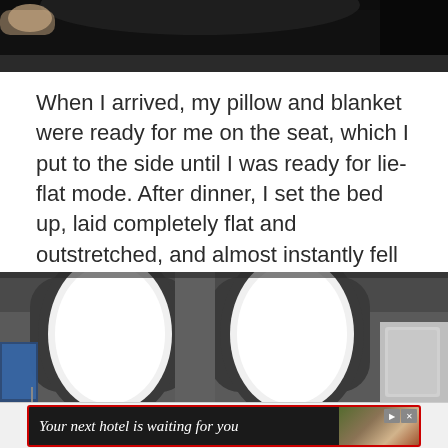[Figure (photo): Top portion of an airplane interior photo showing dark ceiling/overhead compartment area, partially cropped]
When I arrived, my pillow and blanket were ready for me on the seat, which I put to the side until I was ready for lie-flat mode. After dinner, I set the bed up, laid completely flat and outstretched, and almost instantly fell asleep.
[Figure (photo): Airplane interior photo showing two oval windows with bright white light outside, dark gray interior panels, and a seat-back screen visible on the left]
[Figure (other): Advertisement banner: 'Your next hotel is waiting for you' with a travel destination background image, play and close buttons in top right]